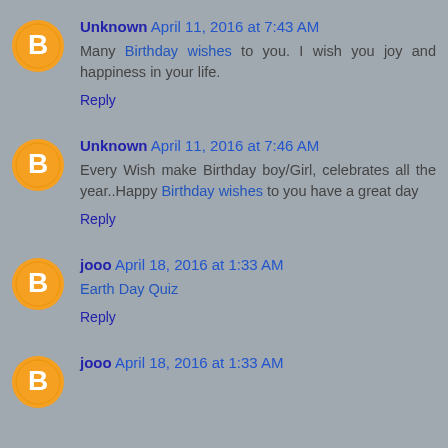Unknown April 11, 2016 at 7:43 AM
Many Birthday wishes to you. I wish you joy and happiness in your life.
Reply
Unknown April 11, 2016 at 7:46 AM
Every Wish make Birthday boy/Girl, celebrates all the year..Happy Birthday wishes to you have a great day
Reply
jooo April 18, 2016 at 1:33 AM
Earth Day Quiz
Reply
jooo April 18, 2016 at 1:33 AM